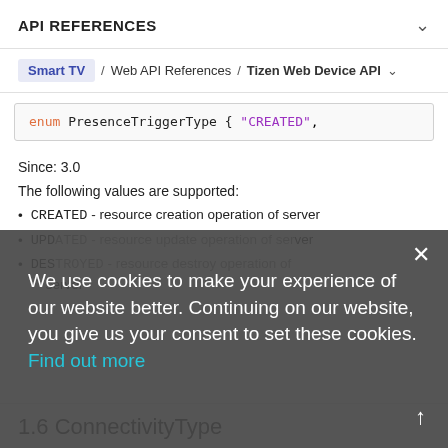API REFERENCES
Smart TV / Web API References / Tizen Web Device API
[Figure (screenshot): Code block showing: enum PresenceTriggerType { "CREATED",]
Since: 3.0
The following values are supported:
CREATED - resource creation operation of server
UPDATED - resource update operation of server
DESTROYED - resource destroy operation of server
We use cookies to make your experience of our website better. Continuing on our website, you give us your consent to set these cookies. Find out more
1.6 ConnectivityType